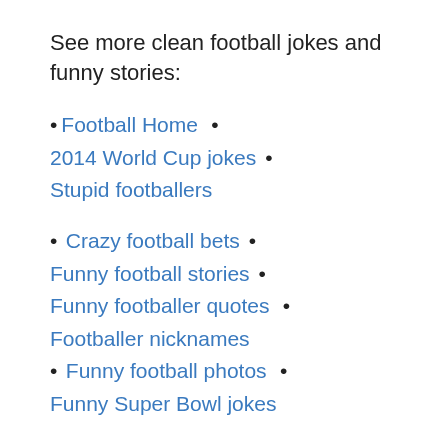See more clean football jokes and funny stories:
• Football Home  •
2014 World Cup jokes  •
Stupid footballers
• Crazy football bets  •
Funny football stories  •
Funny footballer quotes  •
Footballer nicknames
• Funny football photos  •
Funny Super Bowl jokes